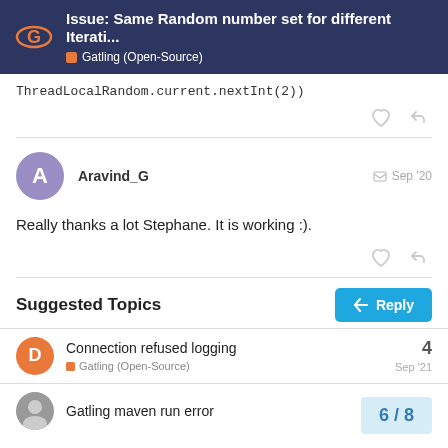Issue: Same Random number set for different Iterati...
Gatling (Open-Source)
ThreadLocalRandom.current.nextInt(2))
Aravind_G  Sep '20
Really thanks a lot Stephane. It is working :).
Suggested Topics
Connection refused logging
Gatling (Open-Source)
4
Sep '21
Gatling maven run error
6 / 8